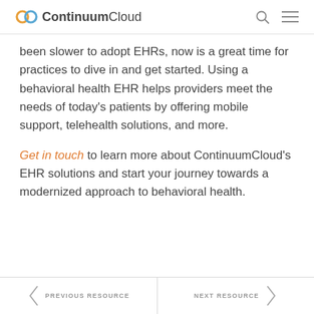ContinuumCloud
been slower to adopt EHRs, now is a great time for practices to dive in and get started. Using a behavioral health EHR helps providers meet the needs of today's patients by offering mobile support, telehealth solutions, and more.
Get in touch to learn more about ContinuumCloud's EHR solutions and start your journey towards a modernized approach to behavioral health.
PREVIOUS RESOURCE | NEXT RESOURCE